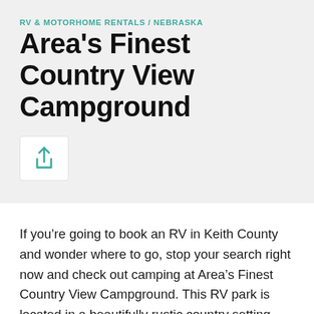RV & MOTORHOME RENTALS / NEBRASKA
Area's Finest Country View Campground
[Figure (other): Share/upload icon button in a white rounded box]
If you’re going to book an RV in Keith County and wonder where to go, stop your search right now and check out camping at Area’s Finest Country View Campground. This RV park is located in a beautifully rustic country setting, making it the ideal place for some relaxation, recreation, and both culture and history. If you bring the whole family, the kids will be busy at the playground or